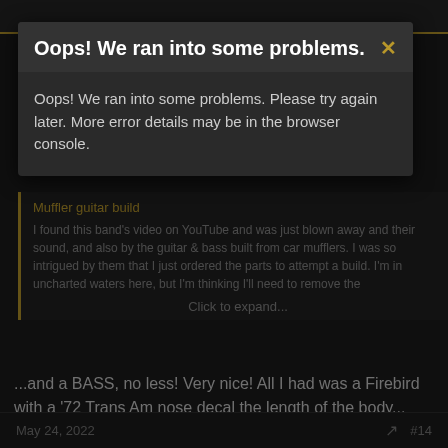Oops! We ran into some problems.
Oops! We ran into some problems. Please try again later. More error details may be in the browser console.
Muffler guitar build
I found this band's video on YouTube and was just blown away and their sound, and also by the guitar & bass built from car mufflers. I was so intrigued by them that I just ordered the parts to attempt a build. I'm in uncharted waters here, but I'm thinking I'll need to remove the
Click to expand...
...and a BASS, no less! Very nice! All I had was a Firebird with a '72 Trans Am nose decal the length of the body...(sorry, I have no pics, as it left before I could get one...pre-"camera-phone" days...
beerbelly
Senior Member
May 24, 2022  #14